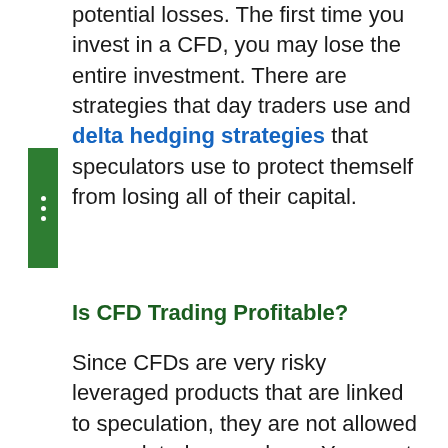higher the risk, the greater your potential losses. The first time you invest in a CFD, you may lose the entire investment. There are strategies that day traders use and delta hedging strategies that speculators use to protect themself from losing all of their capital.
Is CFD Trading Profitable?
Since CFDs are very risky leveraged products that are linked to speculation, they are not allowed or regulated everywhere. You must carefully review, evaluate and compare online brokers before choosing any broker. For